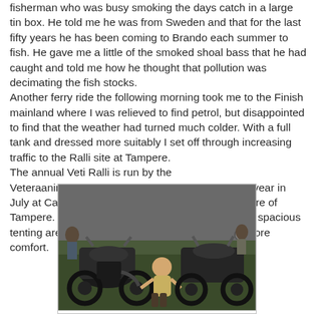fisherman who was busy smoking the days catch in a large tin box. He told me he was from Sweden and that for the last fifty years he has been coming to Brando each summer to fish. He gave me a little of the smoked shoal bass that he had caught and told me how he thought that pollution was decimating the fish stocks. Another ferry ride the following morning took me to the Finish mainland where I was relieved to find petrol, but disappointed to find that the weather had turned much colder. With a full tank and dressed more suitably I set off through increasing traffic to the Ralli site at Tampere. The annual Veti Ralli is run by the Veteraanimootoripyoraklubi, and takes place each year in July at Camping Harmala which is close to the centre of Tampere. The site is ideal for such a gathering with spacious tenting areas and cabins for those requiring a bit more comfort.
[Figure (photo): Black and white photograph of vintage motorcycles at a rally, with a person crouching between them examining one of the bikes, outdoors on grass with other motorcycles and people visible in the background.]